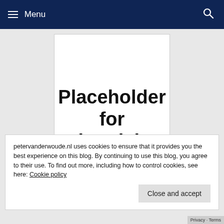≡ Menu
[Figure (other): Placeholder for advertising — large white box with bold text on grey background]
petervanderwoude.nl uses cookies to ensure that it provides you the best experience on this blog. By continuing to use this blog, you agree to their use. To find out more, including how to control cookies, see here: Cookie policy
Close and accept